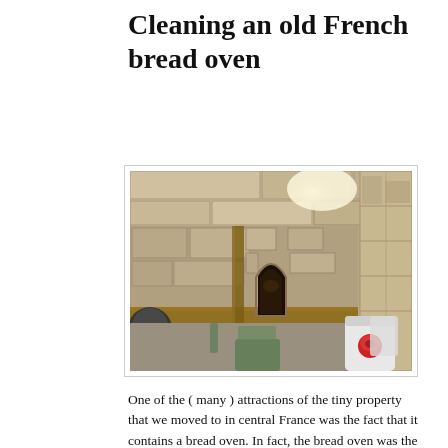Cleaning an old French bread oven
[Figure (photo): Photograph of an old French stone bread oven with an arched opening, wooden beam shelf, stone walls, and various items around it including containers and a green chair]
One of the ( many ) attractions of the tiny property that we moved to in central France was the fact that it contains a bread oven. In fact, the bread oven was the main function of the building when constructed some time in the 16th or 17th century